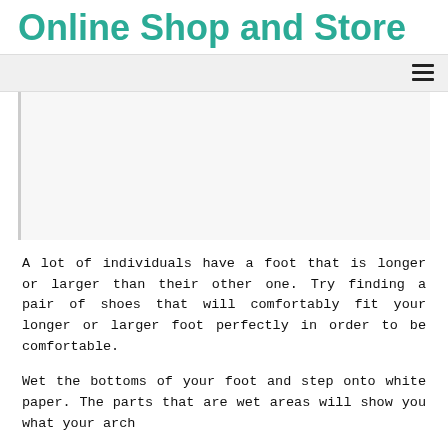Online Shop and Store
[Figure (other): Navigation bar with hamburger menu icon on the right side, and a large white/light gray image placeholder area below it]
A lot of individuals have a foot that is longer or larger than their other one. Try finding a pair of shoes that will comfortably fit your longer or larger foot perfectly in order to be comfortable.
Wet the bottoms of your foot and step onto white paper. The parts that are wet areas will show you what your arch